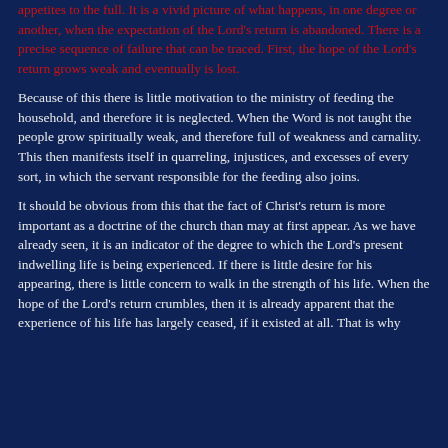appetites to the full. It is a vivid picture of what happens, in one degree or another, when the expectation of the Lord's return is abandoned. There is a precise sequence of failure that can be traced. First, the hope of the Lord's return grows weak and eventually is lost.
Because of this there is little motivation to the ministry of feeding the household, and therefore it is neglected. When the Word is not taught the people grow spiritually weak, and therefore full of weakness and carnality. This then manifests itself in quarreling, injustices, and excesses of every sort, in which the servant responsible for the feeding also joins.
It should be obvious from this that the fact of Christ's return is more important as a doctrine of the church than may at first appear. As we have already seen, it is an indicator of the degree to which the Lord's present indwelling life is being experienced. If there is little desire for his appearing, there is little concern to walk in the strength of his life. When the hope of the Lord's return crumbles, then it is already apparent that the experience of his life has largely ceased, if it existed at all. That is why